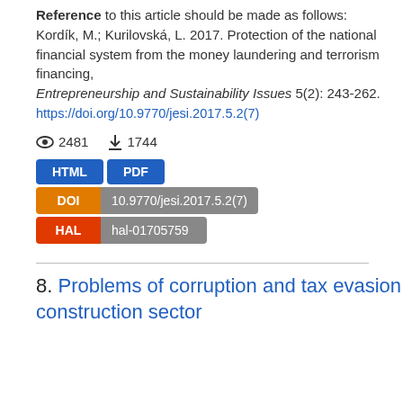Reference to this article should be made as follows:
Kordík, M.; Kurilovská, L. 2017. Protection of the national financial system from the money laundering and terrorism financing, Entrepreneurship and Sustainability Issues 5(2): 243-262.
https://doi.org/10.9770/jesi.2017.5.2(7)
👁 2481  ⬇ 1744
HTML  PDF  DOI 10.9770/jesi.2017.5.2(7)  HAL hal-01705759
8. Problems of corruption and tax evasion in construction sector